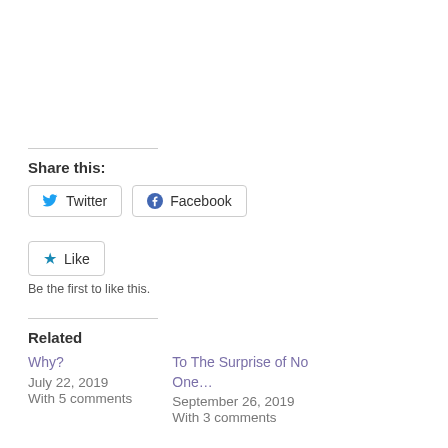Share this:
Twitter  Facebook
Like  Be the first to like this.
Related
Why?
July 22, 2019
With 5 comments
To The Surprise of No One…
September 26, 2019
With 3 comments